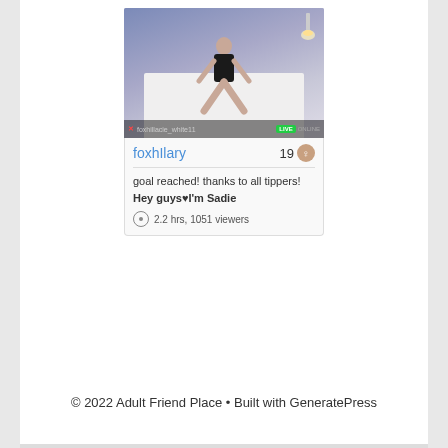[Figure (screenshot): Webcam stream thumbnail showing a person on a bed in a room with blue/purple ambient lighting. Bottom overlay bar shows camera icon and username 'foxhillacie_white11' with LIVE badge.]
foxhIlary   19
goal reached! thanks to all tippers! Hey guys♥I'm Sadie
2.2 hrs, 1051 viewers
© 2022 Adult Friend Place • Built with GeneratePress